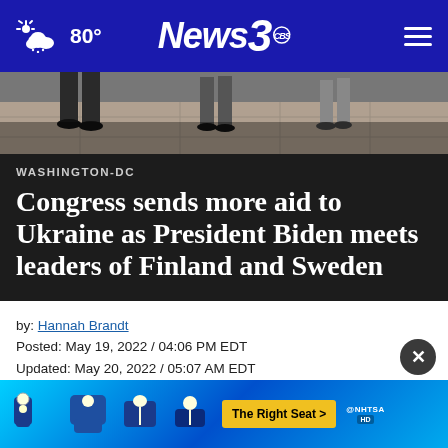80° News3
[Figure (photo): Partial view of people walking, showing only legs and feet on a tiled floor]
WASHINGTON-DC
Congress sends more aid to Ukraine as President Biden meets leaders of Finland and Sweden
by: Hannah Brandt
Posted: May 19, 2022 / 04:06 PM EDT
Updated: May 20, 2022 / 05:07 AM EDT
SHARE
[Figure (infographic): NHTSA The Right Seat advertisement banner with car seat safety icons]